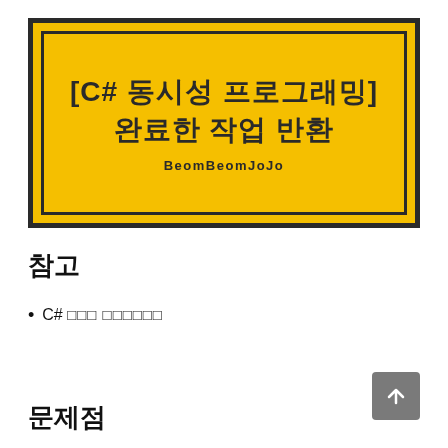[Figure (illustration): Yellow banner with thick black border and inner black border frame. Contains Korean title text '[C# 동시성 프로그래밍] 완료한 작업 반환' and author name 'BeomBeomJoJo' in bold dark text on yellow background.]
참고
C# 동시성 프로그래밍 (박스 글자)
문제점